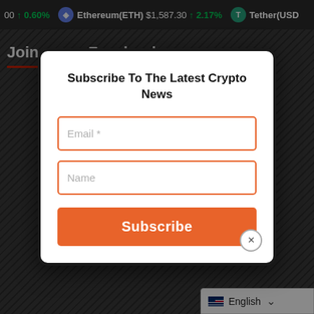00 ↑ 0.60%   Ethereum(ETH) $1,587.30 ↑ 2.17%   Tether(USD…
Join us on Facebook
[Figure (screenshot): Subscribe modal popup with email and name input fields, orange Subscribe button, and close button]
Crypt…
Amou…
1
From
Crypto or fiat…
English